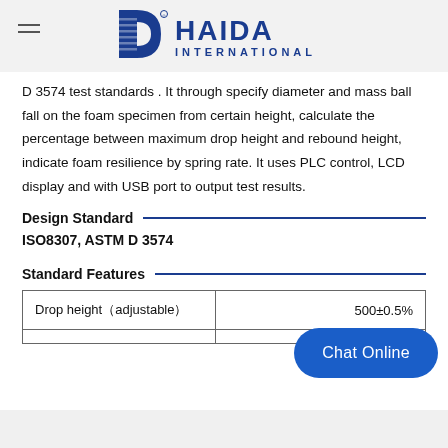HAIDA INTERNATIONAL
D 3574 test standards . It through specify diameter and mass ball fall on the foam specimen from certain height, calculate the percentage between maximum drop height and rebound height, indicate foam resilience by spring rate. It uses PLC control, LCD display and with USB port to output test results.
Design Standard
ISO8307, ASTM D 3574
Standard Features
| Drop height（adjustable） | 500±0.5% |